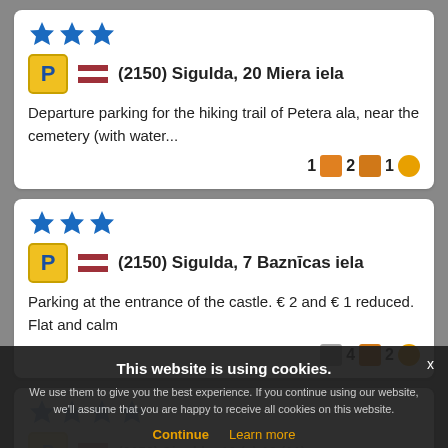[Figure (other): Card 1: Three blue stars rating, parking icon (P), Latvian flag, location (2150) Sigulda, 20 Miera iela. Description: Departure parking for the hiking trail of Petera ala, near the cemetery (with water... Stats: 1 orange-box 2 chat-icon 1 smiley]
[Figure (other): Card 2: Three blue stars rating, parking icon (P), Latvian flag, location (2150) Sigulda, 7 Baznīcas iela. Description: Parking at the entrance of the castle. € 2 and € 1 reduced. Flat and calm. Stats: gray-box 4 chat-icon 2 smiley]
[Figure (other): Card 3 (partially visible, overlaid by cookie banner): Stars rating row with parking info and partial text 'Parking at the Gutmann Hohle with information']
This website is using cookies. We use them to give you the best experience. If you continue using our website, we'll assume that you are happy to receive all cookies on this website.